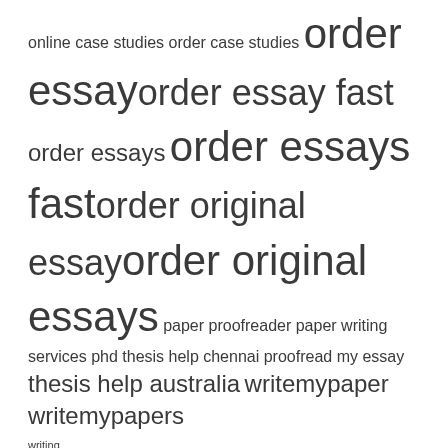online case studies order case studies order essay order essay fast order essays order essays fast order original essay order original essays paper proofreader paper writing services phd thesis help chennai proofread my essay thesis help australia writemypaper writemypapers writing